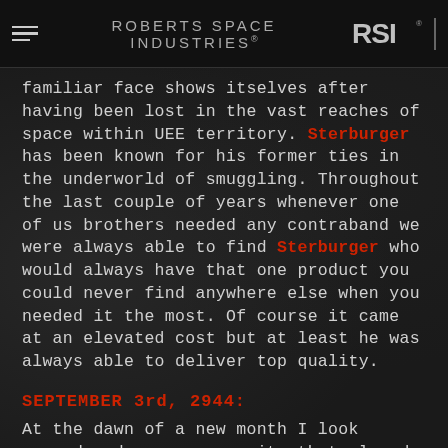ROBERTS SPACE INDUSTRIES®
familiar face shows itselves after having been lost in the vast reaches of space within UEE territory. Sterburger has been known for his former ties in the underworld of smuggling. Throughout the last couple of years whenever one of us brothers needed any contraband we were always able to find Sterburger who would always have that one product you could never find anywhere else when you needed it the most. Of course it came at an elevated cost but at least he was always able to deliver top quality.
SEPTEMBER 3rd, 2944:
At the dawn of a new month I look around and see a community that already has a few dedicated members that seem to see the same as I do. We decided to have a meetup downtown in a shady pub in ArcCorp. At this point so